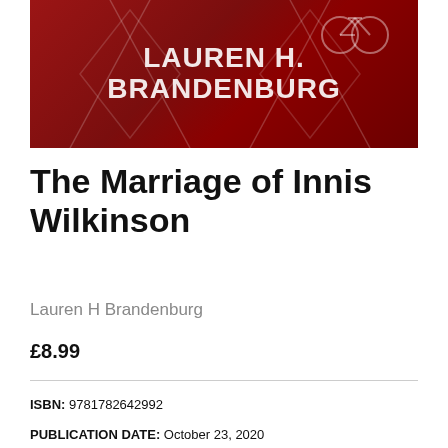[Figure (illustration): Book cover image on a dark red/crimson background with geometric diamond shapes and a bicycle silhouette. Text reads 'LAUREN H. BRANDENBURG' in white stylized handwriting font.]
The Marriage of Innis Wilkinson
Lauren H Brandenburg
£8.99
ISBN: 9781782642992
PUBLICATION DATE: October 23, 2020